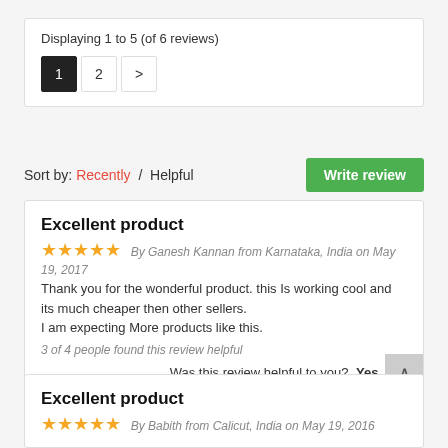Displaying 1 to 5 (of 6 reviews)
Pagination: 1 (active), 2, >
Sort by: Recently / Helpful
Write review
Excellent product
★★★★★ By Ganesh Kannan from Karnataka, India on May 19, 2017
Thank you for the wonderful product. this Is working cool and its much cheaper then other sellers.
I am expecting More products like this.
3 of 4 people found this review helpful
Was this review helpful to you? Yes No
Excellent product
★★★★★ By Babith from Calicut, India on May 19, 2016